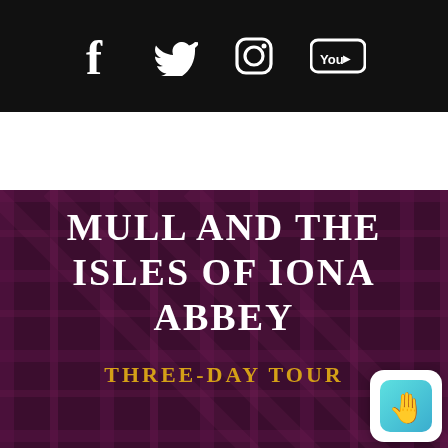[Figure (screenshot): Social media icons bar: Facebook, Twitter, Instagram, YouTube on black background]
[Figure (screenshot): Navigation bar with hamburger menu icon and search icon on dark purple leather texture background]
MULL AND THE ISLES OF IONA ABBEY
THREE-DAY TOUR
[Figure (logo): App icon with teal hand/wave symbol on white rounded square background]